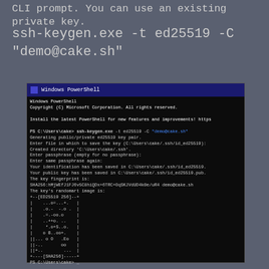CLI prompt. You can use an existing private key.
ssh-keygen.exe -t ed25519 -C "demo@cake.sh"
[Figure (screenshot): Windows PowerShell terminal window showing ssh-keygen.exe command being run to generate an ED25519 key pair. Output includes prompts for file location, passphrase, and a randomart image. Final prompt shows PS C:\Users\cake> _]